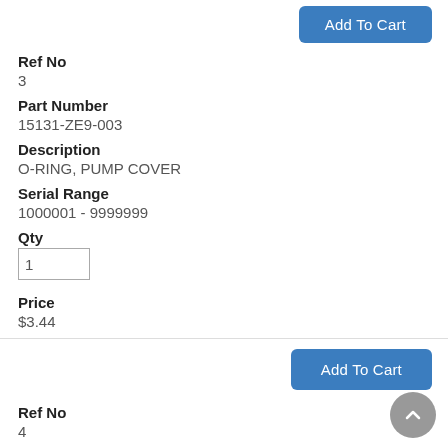[Figure (other): Add To Cart button (partially visible at top)]
Ref No
3
Part Number
15131-ZE9-003
Description
O-RING, PUMP COVER
Serial Range
1000001 - 9999999
Qty
1
Price
$3.44
[Figure (other): Add To Cart button]
Ref No
4
Part Number
15330-ZE8-000
[Figure (other): Scroll to top circular button]